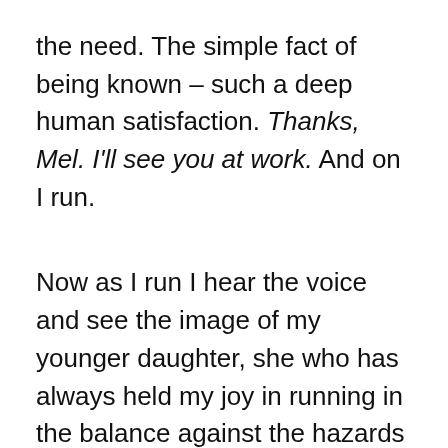the need. The simple fact of being known – such a deep human satisfaction. Thanks, Mel. I'll see you at work. And on I run.
Now as I run I hear the voice and see the image of my younger daughter, she who has always held my joy in running in the balance against the hazards of running; she's known how marathons have claimed and killed and stilled many runners, faster